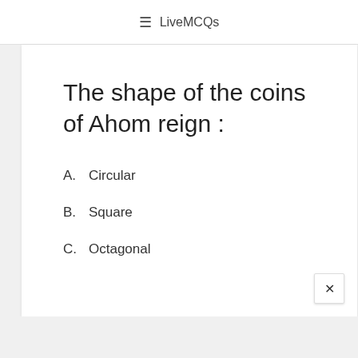☰ LiveMCQs
The shape of the coins of Ahom reign :
A.  Circular
B.  Square
C.  Octagonal